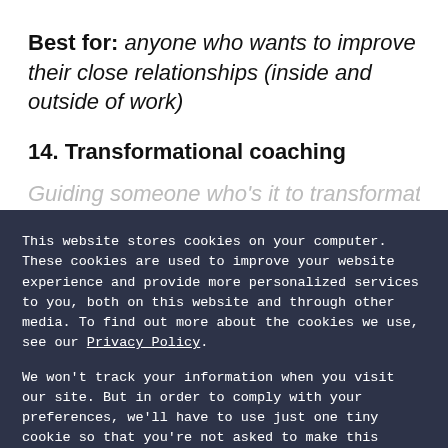Best for: anyone who wants to improve their close relationships (inside and outside of work)
14. Transformational coaching
Guiding someone who's it to transformational...
This website stores cookies on your computer. These cookies are used to improve your website experience and provide more personalized services to you, both on this website and through other media. To find out more about the cookies we use, see our Privacy Policy.

We won't track your information when you visit our site. But in order to comply with your preferences, we'll have to use just one tiny cookie so that you're not asked to make this choice again.